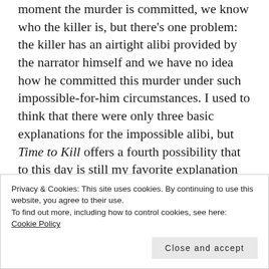moment the murder is committed, we know who the killer is, but there's one problem: the killer has an airtight alibi provided by the narrator himself and we have no idea how he committed this murder under such impossible-for-him circumstances. I used to think that there were only three basic explanations for the impossible alibi, but Time to Kill offers a fourth possibility that to this day is still my favorite explanation for this particular problem. It perfectly sets up Ormerod's thorough and educated understanding of Golden Age-styled alibi trickery almost in the style of Christopher Bush — a lost disciple of the puzzle
Privacy & Cookies: This site uses cookies. By continuing to use this website, you agree to their use.
To find out more, including how to control cookies, see here:
Cookie Policy